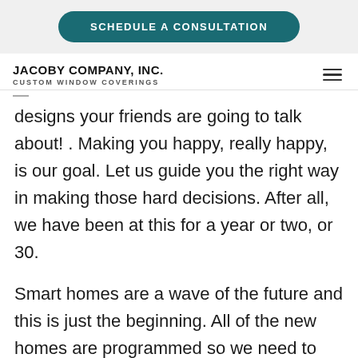SCHEDULE A CONSULTATION
JACOBY COMPANY, INC.
CUSTOM WINDOW COVERINGS
designs your friends are going to talk about! . Making you happy, really happy, is our goal. Let us guide you the right way in making those hard decisions. After all, we have been at this for a year or two, or 30.
Smart homes are a wave of the future and this is just the beginning. All of the new homes are programmed so we need to have the resources